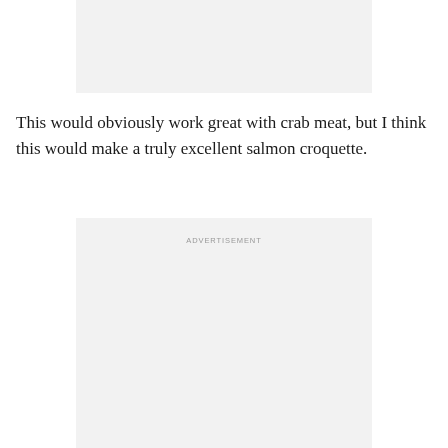[Figure (other): Top advertisement placeholder box with light gray background]
This would obviously work great with crab meat, but I think this would make a truly excellent salmon croquette.
[Figure (other): Bottom advertisement placeholder box with light gray background and 'ADVERTISEMENT' label at top center]